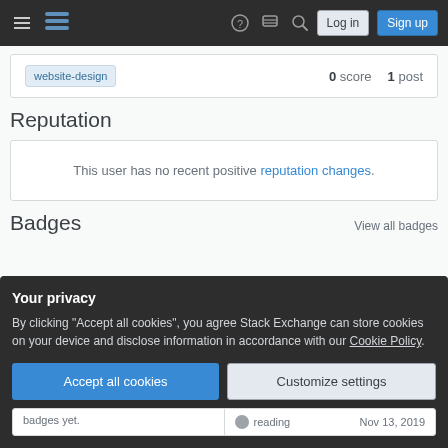Stack Exchange navigation bar with hamburger menu, logo, help, chat, search, Log in, Sign up buttons
website-design  0 score  1 post
Reputation
This user has no recent positive reputation changes.
Badges
View all badges
Your privacy
By clicking "Accept all cookies", you agree Stack Exchange can store cookies on your device and disclose information in accordance with our Cookie Policy.
Accept all cookies
Customize settings
badges yet.
reading
Nov 13, 2019